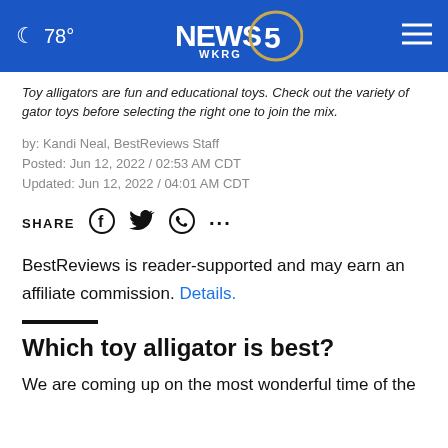☾ 78° | NEWS 5 WKRG | ☰
Toy alligators are fun and educational toys. Check out the variety of gator toys before selecting the right one to join the mix.
by: Kandi Neal, BestReviews Staff
Posted: Jun 12, 2022 / 02:53 AM CDT
Updated: Jun 12, 2022 / 04:01 AM CDT
SHARE [Facebook] [Twitter] [WhatsApp] [...]
BestReviews is reader-supported and may earn an affiliate commission. Details.
Which toy alligator is best?
We are coming up on the most wonderful time of the